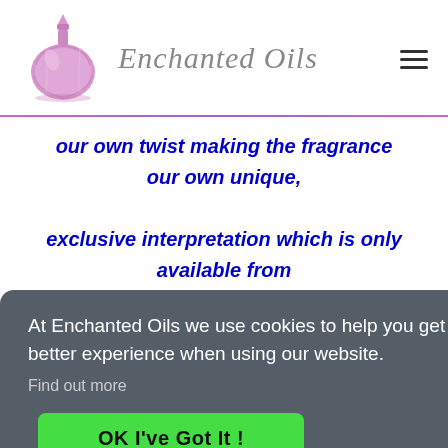[Figure (logo): Enchanted Oils logo with pink perfume bottle and italic text 'Enchanted Oils']
our own twist making the fragrance our own unique, exclusive interpretation which is only available from Enchanted.
At Enchanted Oils we use cookies to help you get a better experience when using our website. Find out more
OK I've Got It !